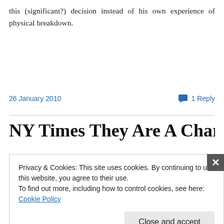this (significant?) decision instead of his own experience of physical breakdown.
26 January 2010
1 Reply
NY Times They Are A Chargin
Privacy & Cookies: This site uses cookies. By continuing to use this website, you agree to their use.
To find out more, including how to control cookies, see here: Cookie Policy